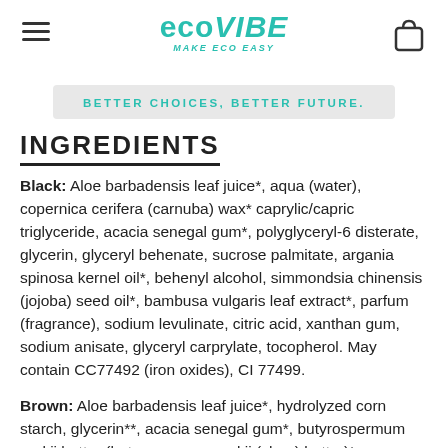EcoVibe — Make Eco Easy
BETTER CHOICES, BETTER FUTURE.
INGREDIENTS
Black: Aloe barbadensis leaf juice*, aqua (water), copernica cerifera (carnuba) wax* caprylic/capric triglyceride, acacia senegal gum*, polyglyceryl-6 disterate, glycerin, glyceryl behenate, sucrose palmitate, argania spinosa kernel oil*, behenyl alcohol, simmondsia chinensis (jojoba) seed oil*, bambusa vulgaris leaf extract*, parfum (fragrance), sodium levulinate, citric acid, xanthan gum, sodium anisate, glyceryl carprylate, tocopherol. May contain CC77492 (iron oxides), CI 77499.
Brown: Aloe barbadensis leaf juice*, hydrolyzed corn starch, glycerin**, acacia senegal gum*, butyrospermum parkii butter (butrospermum parkii (shea) butter)*,...